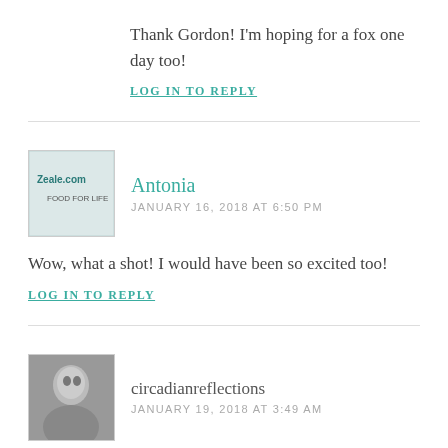Thank Gordon! I’m hoping for a fox one day too!
LOG IN TO REPLY
Antonia
JANUARY 16, 2018 AT 6:50 PM
Wow, what a shot! I would have been so excited too!
LOG IN TO REPLY
circadianreflections
JANUARY 19, 2018 AT 3:49 AM